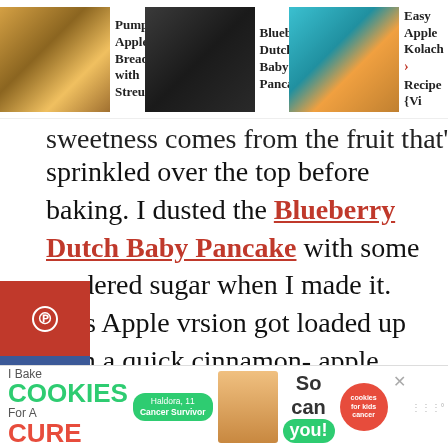Pumpkin Apple Bread with Streusel... | Blueberry Dutch Baby Pancake... | Easy Apple Kolach Recipe {Vi
sweetness comes from the fruit that's sprinkled over the top before baking. I dusted the Blueberry Dutch Baby Pancake with some powdered sugar when I made it. This Apple version got loaded up with a quick cinnamon-apple topping. That definitely bumped it up er the top.
[Figure (photo): Close-up photo of an apple Dutch baby pancake in a cast iron skillet, dark moody background]
[Figure (infographic): Advertisement banner: I Bake COOKIES For A CURE - Haldora, 11 Cancer Survivor - So can you! - cookies for kids cancer logo - Mediavine]